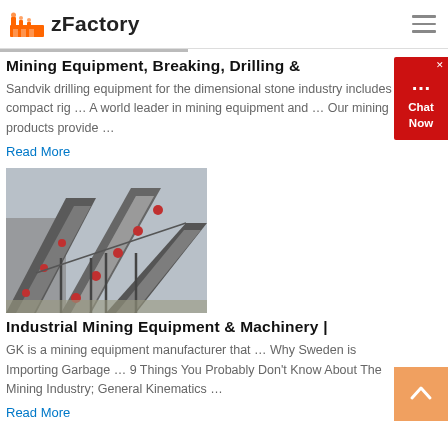zFactory
Mining Equipment, Breaking, Drilling &
Sandvik drilling equipment for the dimensional stone industry includes compact rig … A world leader in mining equipment and … Our mining products provide …
Read More
[Figure (photo): Industrial conveyor belts and mining machinery at an outdoor site, viewed at an angle showing multiple parallel conveyors carrying gravel.]
Industrial Mining Equipment & Machinery |
GK is a mining equipment manufacturer that … Why Sweden is Importing Garbage … 9 Things You Probably Don't Know About The Mining Industry; General Kinematics …
Read More